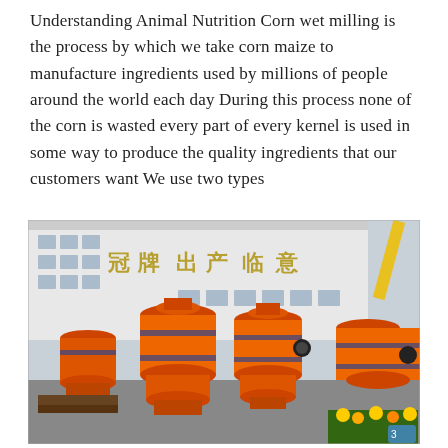Understanding Animal Nutrition Corn wet milling is the process by which we take corn maize to manufacture ingredients used by millions of people around the world each day During this process none of the corn is wasted every part of every kernel is used in some way to produce the quality ingredients that our customers want We use two types
[Figure (photo): Photograph of large orange industrial corn wet milling machines (cylindrical tanks/separators) lined up in a factory yard in China, with a white industrial building in the background displaying Chinese characters. Yellow construction equipment visible on the right edge. Flowers and greenery at bottom right.]